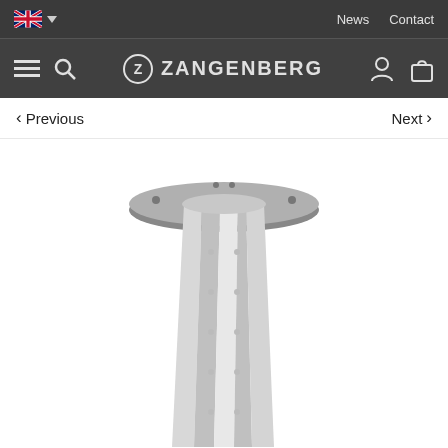News   Contact
ZANGENBERG
< Previous    Next >
[Figure (photo): A silver metallic flagpole or tubular post with a circular mounting flange/base plate at the top, shown vertically on a white background. The post has a ribbed or fluted cross-section and appears to be made of aluminum or steel.]